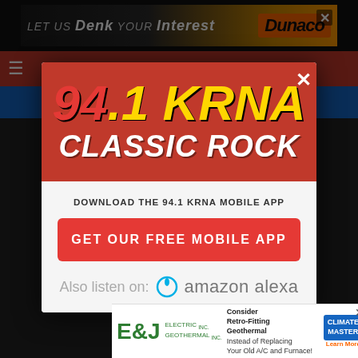[Figure (screenshot): 94.1 KRNA Classic Rock radio station website screenshot with modal popup dialog]
[Figure (logo): 94.1 KRNA Classic Rock logo in red and yellow on dark red background]
DOWNLOAD THE 94.1 KRNA MOBILE APP
GET OUR FREE MOBILE APP
Also listen on: amazon alexa
[Figure (infographic): E&J Electric Geothermal advertisement for Consider Retro-Fitting Geothermal Instead of Replacing Your Old A/C and Furnace! with ClimateMaster Learn More]